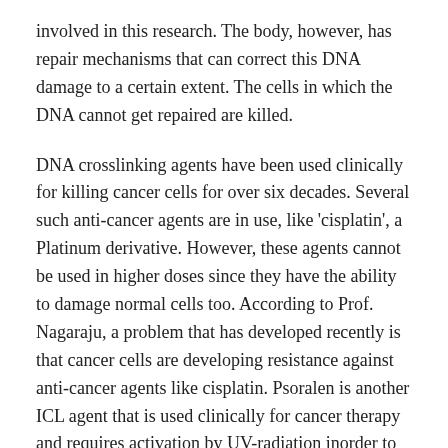involved in this research. The body, however, has repair mechanisms that can correct this DNA damage to a certain extent. The cells in which the DNA cannot get repaired are killed.
DNA crosslinking agents have been used clinically for killing cancer cells for over six decades. Several such anti-cancer agents are in use, like 'cisplatin', a Platinum derivative. However, these agents cannot be used in higher doses since they have the ability to damage normal cells too. According to Prof. Nagaraju, a problem that has developed recently is that cancer cells are developing resistance against anti-cancer agents like cisplatin. Psoralen is another ICL agent that is used clinically for cancer therapy and requires activation by UV-radiation inorder to achieve ICLs in cancer cells. However, patients can develop skin cancer due to prolonged exposure to UV-radiation.
Taking into account with the limitations of existing ICL inducing